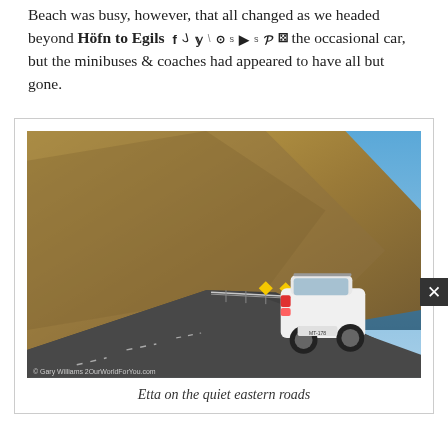Beach was busy, however, that all changed as we headed beyond Höfn to Egils... the occasional car, but the minibuses & coaches had appeared to have all but gone.
[Figure (photo): A white SUV (Etta) driving on a narrow road along a steep mountainside with snow-capped peaks and the sea visible in the background, under a partly cloudy blue sky. Watermark reads: © Gary Williams 2OurWorldForYou.com]
Etta on the quiet eastern roads